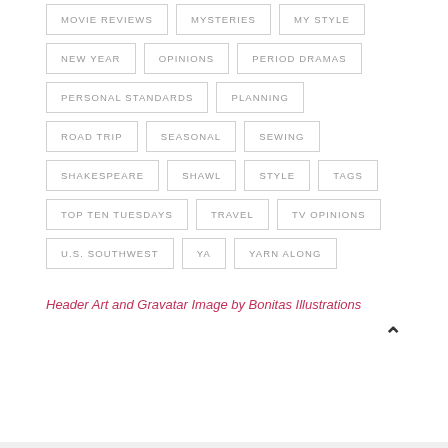MOVIE REVIEWS
MYSTERIES
MY STYLE
NEW YEAR
OPINIONS
PERIOD DRAMAS
PERSONAL STANDARDS
PLANNING
ROAD TRIP
SEASONAL
SEWING
SHAKESPEARE
SHAWL
STYLE
TAGS
TOP TEN TUESDAYS
TRAVEL
TV OPINIONS
U.S. SOUTHWEST
YA
YARN ALONG
Header Art and Gravatar Image by Bonitas Illustrations